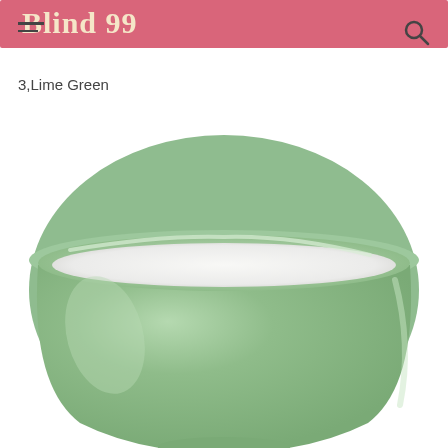Blind 99
3,Lime Green
[Figure (photo): A lime green ceramic bowl with a white interior, photographed from slightly above against a white background. The bowl has a rounded shape with a small footed base.]